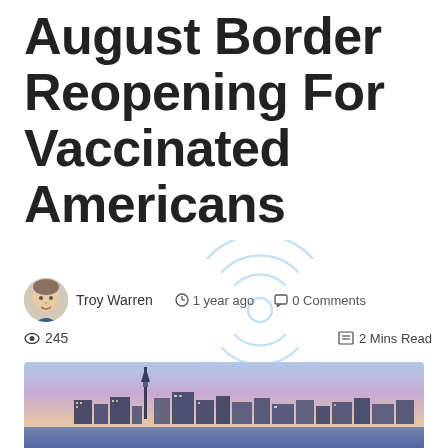August Border Reopening For Vaccinated Americans
Troy Warren   1 year ago   0 Comments   245   2 Mins Read
[Figure (photo): Toronto city skyline at dusk/night with CN Tower, illuminated buildings reflected in water, purple-blue sky]